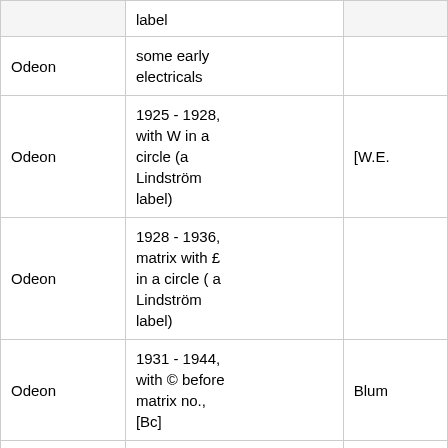| Label | Description | Reference |
| --- | --- | --- |
|  | label |  |
| Odeon | some early electricals |  |
| Odeon | 1925 - 1928, with W in a circle (a Lindström label) | [W.E. |
| Odeon | 1928 - 1936, matrix with £ in a circle ( a Lindström label) |  |
| Odeon | 1931 - 1944, with © before matrix no., [Bc] | Blum |
| Odeon | to 1953, (1926 sub. of Brit. Columbia , 1931 sub. of EMI) | Blum |